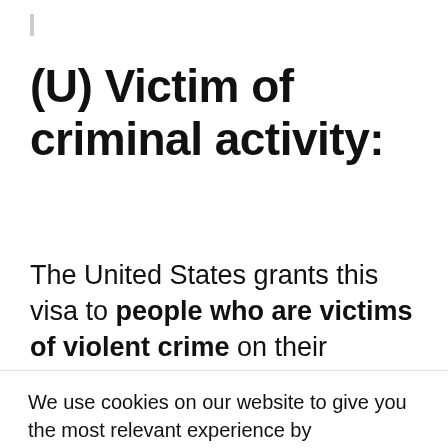(U) Victim of criminal activity:
The United States grants this visa to people who are victims of violent crime on their territory, to protect them during the conduct of criminal investigations. The U visa can
We use cookies on our website to give you the most relevant experience by remembering your preferences and repeat visits. By clicking “Accept All”, you consent to the use of ALL the cookies. However, you may visit "Cookie Settings" to provide a controlled consent.